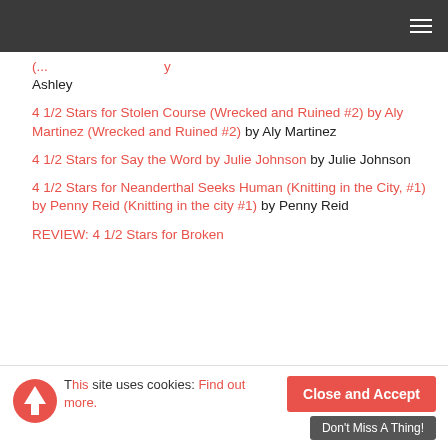4 1/2 Stars for Stolen Course (Wrecked and Ruined #2) by Aly Martinez (Wrecked and Ruined #2) by Aly Martinez
4 1/2 Stars for Say the Word by Julie Johnson by Julie Johnson
4 1/2 Stars for Neanderthal Seeks Human (Knitting in the City, #1) by Penny Reid (Knitting in the city #1) by Penny Reid
REVIEW: 4 1/2 Stars for Broken
This site uses cookies: Find out more.
Close and Accept
Don't Miss A Thing!